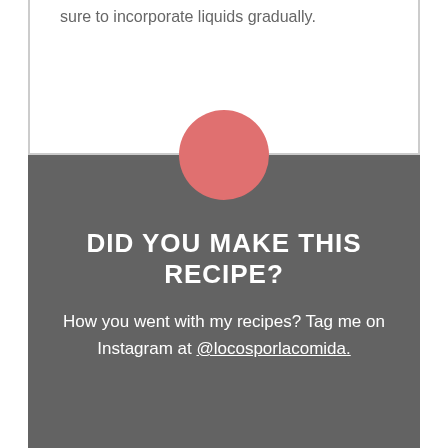sure to incorporate liquids gradually.
DID YOU MAKE THIS RECIPE?
How you went with my recipes? Tag me on Instagram at @locosporlacomida.